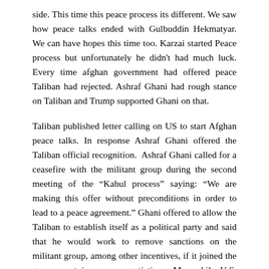side. This time this peace process its different. We saw how peace talks ended with Gulbuddin Hekmatyar. We can have hopes this time too. Karzai started Peace process but unfortunately he didn't had much luck. Every time afghan government had offered peace Taliban had rejected. Ashraf Ghani had rough stance on Taliban and Trump supported Ghani on that.
Taliban published letter calling on US to start Afghan peace talks. In response Ashraf Ghani offered the Taliban official recognition. Ashraf Ghani called for a ceasefire with the militant group during the second meeting of the "Kabul process" saying: "We are making this offer without preconditions in order to lead to a peace agreement." Ghani offered to allow the Taliban to establish itself as a political party and said that he would work to remove sanctions on the militant group, among other incentives, if it joined the government in peace negotiations. Meanwhile U.S. Calls on Afghan Taliban to take Ghani peace offer 'Seriously' "We certainly